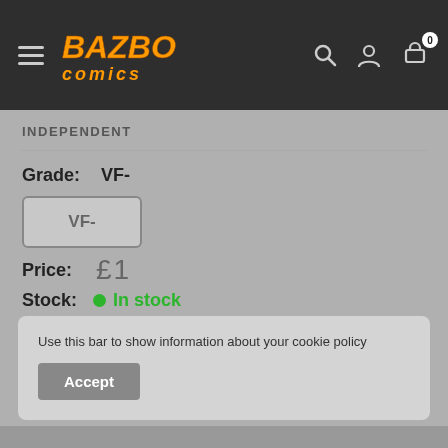[Figure (logo): Bazbo Comics logo in orange italic text on dark navigation bar with hamburger menu, search icon, account icon, and cart icon with badge showing 0]
INDEPENDENT
Grade: VF-
VF-
Price:  £1
Stock:  In stock
Use this bar to show information about your cookie policy
Accept